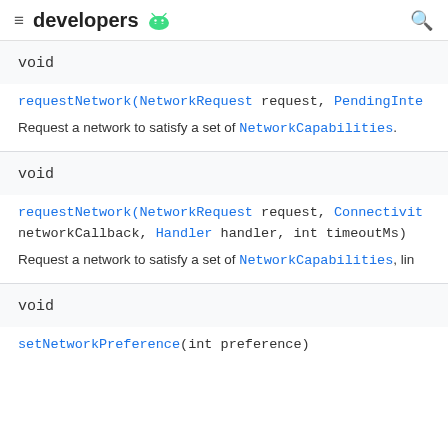developers
void
requestNetwork(NetworkRequest request, PendingInte
Request a network to satisfy a set of NetworkCapabilities.
void
requestNetwork(NetworkRequest request, Connectivit networkCallback, Handler handler, int timeoutMs)
Request a network to satisfy a set of NetworkCapabilities, lin
void
setNetworkPreference(int preference)